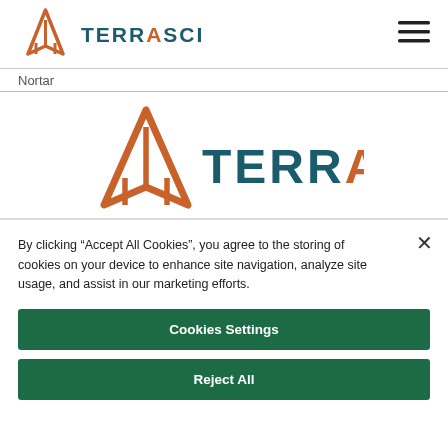[Figure (logo): TerrAscend logo in navigation bar - orange triangle icon with teal TERRASCEND text]
[Figure (other): Hamburger menu icon (three horizontal lines) in top right of navigation bar]
Nortar
[Figure (logo): Large TerrAscend logo centered on page - orange triangle icon with teal TERRASCEND text]
By clicking “Accept All Cookies”, you agree to the storing of cookies on your device to enhance site navigation, analyze site usage, and assist in our marketing efforts.
Cookies Settings
Reject All